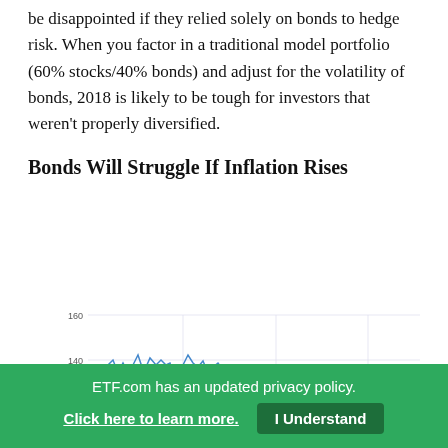be disappointed if they relied solely on bonds to hedge risk. When you factor in a traditional model portfolio (60% stocks/40% bonds) and adjust for the volatility of bonds, 2018 is likely to be tough for investors that weren't properly diversified.
Bonds Will Struggle If Inflation Rises
[Figure (continuous-plot): Line chart showing bond price movements over time with values ranging from approximately 100 to 160. A blue label shows '112.3526' on the left y-axis. The line fluctuates with peaks around 150-155 early, then declines, with a red diagonal arrow overlaid at the end pointing upward-right indicating rising inflation direction. Y-axis gridlines at 100, 120, 140, 160.]
ETF.com has an updated privacy policy.
Click here to learn more.   I Understand